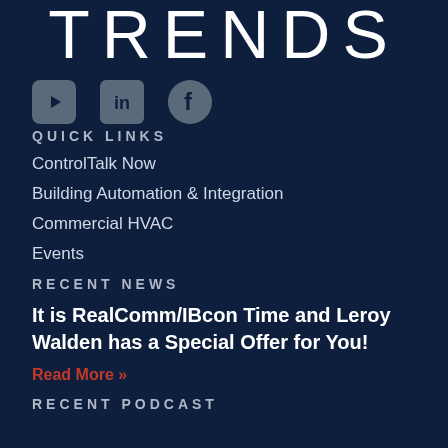TRENDS
[Figure (illustration): Social media icons: YouTube, LinkedIn, Facebook]
QUICK LINKS
ControlTalk Now
Building Automation & Integration
Commercial HVAC
Events
RECENT NEWS
It is RealComm/IBcon Time and Leroy Walden has a Special Offer for You!
Read More »
RECENT PODCAST